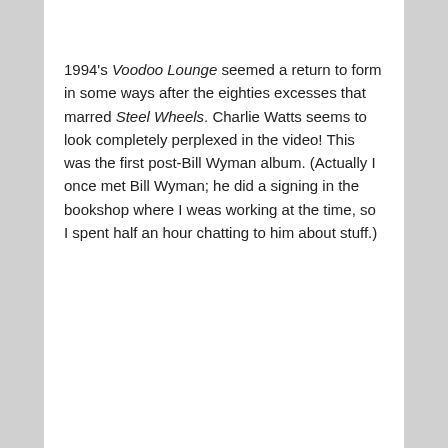1994's Voodoo Lounge seemed a return to form in some ways after the eighties excesses that marred Steel Wheels. Charlie Watts seems to look completely perplexed in the video! This was the first post-Bill Wyman album. (Actually I once met Bill Wyman; he did a signing in the bookshop where I weas working at the time, so I spent half an hour chatting to him about stuff.)